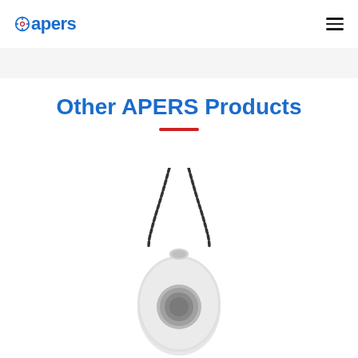apers
Other APERS Products
[Figure (photo): A white oval-shaped personal emergency response pendant/button device with a dark chain/lanyard attached, photographed on a white background.]